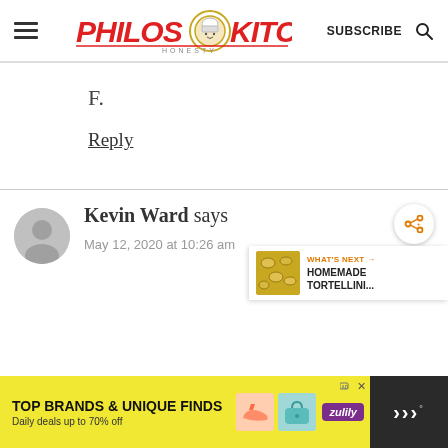Philos Kitchen - SUBSCRIBE
F.
Reply
Kevin Ward says
May 12, 2020 at 10:26 am
[Figure (infographic): Ad banner: TOP BRANDS & UNIQUE FINDS, Daily deals up to 70% off, zulily]
[Figure (infographic): What's Next widget: HOMEMADE TORTELLINI...]